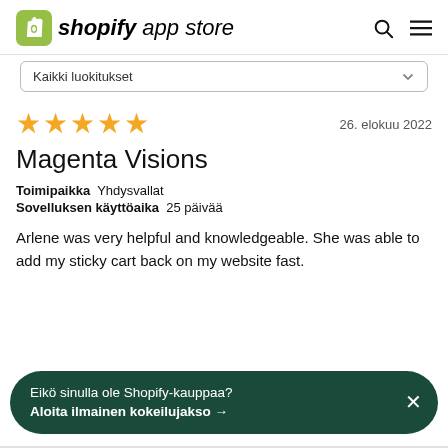shopify app store
Kaikki luokitukset
[Figure (other): Five gold star rating icons]
26. elokuu 2022
Magenta Visions
Toimipaikka  Yhdysvallat
Sovelluksen käyttöaika  25 päivää
Arlene was very helpful and knowledgeable. She was able to add my sticky cart back on my website fast.
Eikö sinulla ole Shopify-kauppaa?
Aloita ilmainen kokeilujakso →